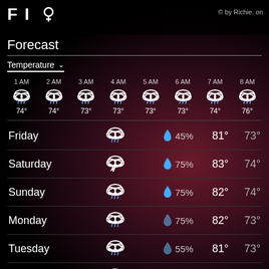© by Richie. on
Forecast
Temperature ∨
| Time | Icon | Temp |
| --- | --- | --- |
| 1 AM | rain-cloud | 74° |
| 2 AM | rain-cloud | 74° |
| 3 AM | rain-cloud | 73° |
| 4 AM | rain-cloud | 73° |
| 5 AM | rain-cloud | 73° |
| 6 AM | rain-cloud | 73° |
| 7 AM | rain-cloud | 74° |
| 8 AM | rain-cloud | 76° |
| Day | Icon | Precip% | High | Low |
| --- | --- | --- | --- | --- |
| Friday | rain-cloud | 45% | 81° | 73° |
| Saturday | thunder-cloud | 75% | 83° | 74° |
| Sunday | rain-cloud | 75% | 82° | 74° |
| Monday | rain-cloud | 75% | 82° | 73° |
| Tuesday | rain-cloud | 55% | 81° | 73° |
| Wednesday | rain-cloud | 40% | 80° | 73° |
| Thursday | rain-cloud | 55% | 82° | 73° |